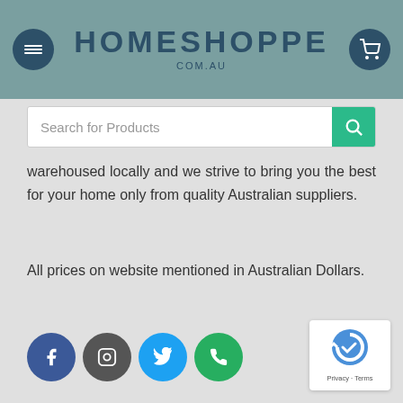HOMESHOPPE COM.AU
[Figure (screenshot): Search for Products input bar with green search button]
warehoused locally and we strive to bring you the best for your home only from quality Australian suppliers.
All prices on website mentioned in Australian Dollars.
[Figure (infographic): Social media icons: Facebook, Instagram, Twitter, Phone]
[Figure (logo): Google reCAPTCHA badge with Privacy and Terms links]